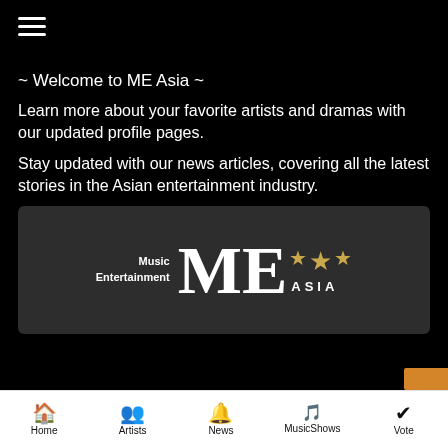☰ (hamburger menu)
~ Welcome to ME Asia ~
Learn more about your favorite artists and dramas with our updated profile pages.
Stay updated with our news articles, covering all the latest stories in the Asian entertainment industry.
[Figure (logo): ME Asia logo: 'Music Entertainment' text on left, large 'ME' serif letters in center, three gold stars, 'ASIA' text below stars on dark grey background]
Home | Artists | News | MusicShows | Vote